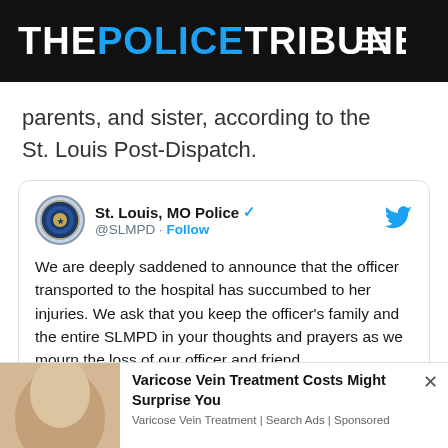THE POLICE TRIBUNE
parents, and sister, according to the St. Louis Post-Dispatch.
[Figure (screenshot): Embedded tweet from St. Louis MO Police (@SLMPD) with verified badge and Follow button. Tweet text: We are deeply saddened to announce that the officer transported to the hospital has succumbed to her injuries. We ask that you keep the officer's family and the entire SLMPD in your thoughts and prayers as we mourn the loss of our officer and friend.]
Varicose Vein Treatment Costs Might Surprise You
Varicose Vein Treatment | Search Ads | Sponsored